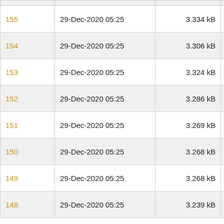| ID | Date | Size | Type |
| --- | --- | --- | --- |
| 155 | 29-Dec-2020 05:25 | 3.334 kB | Hal |
| 154 | 29-Dec-2020 05:25 | 3.306 kB | Hal |
| 153 | 29-Dec-2020 05:25 | 3.324 kB | Hal |
| 152 | 29-Dec-2020 05:25 | 3.286 kB | Hal |
| 151 | 29-Dec-2020 05:25 | 3.269 kB | Hal |
| 150 | 29-Dec-2020 05:25 | 3.268 kB | Hal |
| 149 | 29-Dec-2020 05:25 | 3.268 kB | Hal |
| 148 | 29-Dec-2020 05:25 | 3.239 kB | Hal |